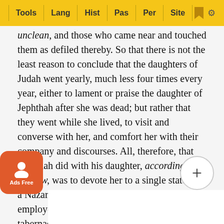Tools | Lang | Hist | Pas | Per | Site
unclean, and those who came near and touched them as defiled thereby. So that there is not the least reason to conclude that the daughters of Judah went yearly, much less four times every year, either to lament or praise the daughter of Jephthah after she was dead; but rather that they went while she lived, to visit and converse with her, and comfort her with their company and discourses. All, therefore, that Jephthah did with his daughter, according to his vow, was to devote her to a single state, as a Nazarite, or consecrated person, to be employed in the service of God in the tabernacle, under the care of the high-priests, probably in making the hangings and other ornaments of it, the habits of the priests, the show-bread, the cakes used in sacrifices, and other such like offices, and to continue in a virgin s[tate to] t[h]e day of her death. Thus Samuel was vowed to th[e Lord by h]is mother, 1 Samuel 1:11. That his daughter must live and di[e in virgi]nity, becau[se of the circums]tance which...